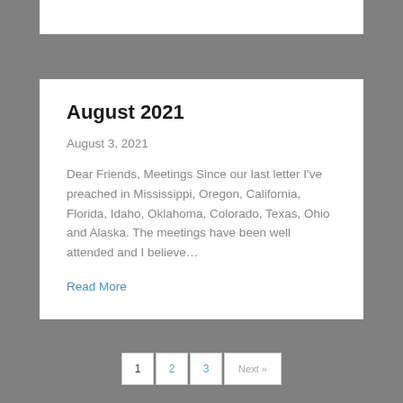August 2021
August 3, 2021
Dear Friends, Meetings Since our last letter I've preached in Mississippi, Oregon, California, Florida, Idaho, Oklahoma, Colorado, Texas, Ohio and Alaska. The meetings have been well attended and I believe…
Read More
1  2  3  Next »